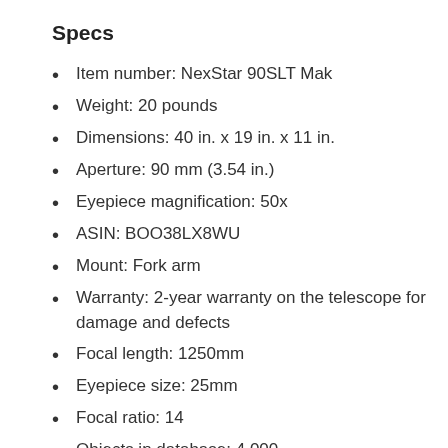Specs
Item number: NexStar 90SLT Mak
Weight: 20 pounds
Dimensions: 40 in. x 19 in. x 11 in.
Aperture: 90 mm (3.54 in.)
Eyepiece magnification: 50x
ASIN: BOO38LX8WU
Mount: Fork arm
Warranty: 2-year warranty on the telescope for damage and defects
Focal length: 1250mm
Eyepiece size: 25mm
Focal ratio: 14
Objects in database: 4,000
The Celestron NexStar 90SLT is one of